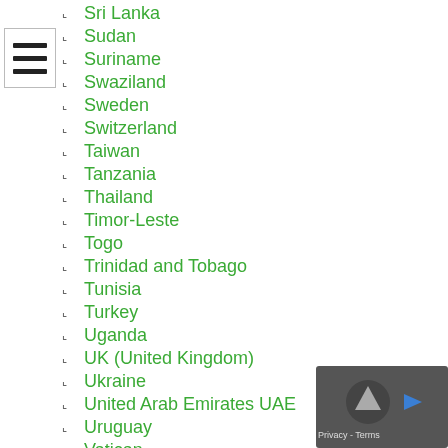[Figure (other): Hamburger menu icon (three horizontal lines)]
Sri Lanka
Sudan
Suriname
Swaziland
Sweden
Switzerland
Taiwan
Tanzania
Thailand
Timor-Leste
Togo
Trinidad and Tobago
Tunisia
Turkey
Uganda
UK (United Kingdom)
Ukraine
United Arab Emirates UAE
Uruguay
Vatican
Venezuela
Vietnam
Wales
[Figure (other): Privacy & Terms button overlay with arrow icon]